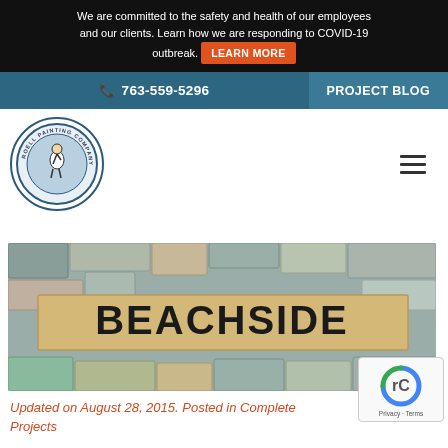We are committed to the safety and health of our employees and our clients. Learn how we are responding to COVID-19 outbreak. LEARN MORE
763-559-5296   PROJECT BLOG
[Figure (logo): Roell Painting Company circular logo with painter figure in the center]
[Figure (photo): Stone wall with a tan rectangular sign reading BEACHSIDE in large dark letters]
Updated on August 28, 2015. Posted in Complete Projects